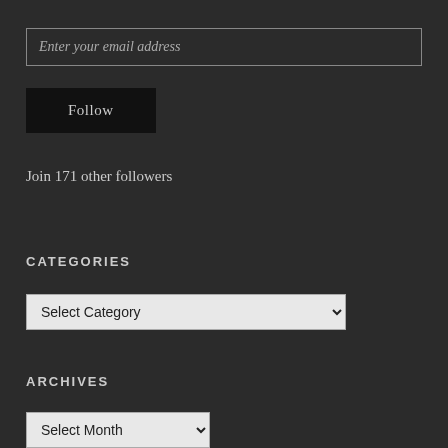Enter your email address
Follow
Join 171 other followers
CATEGORIES
Select Category
ARCHIVES
Select Month